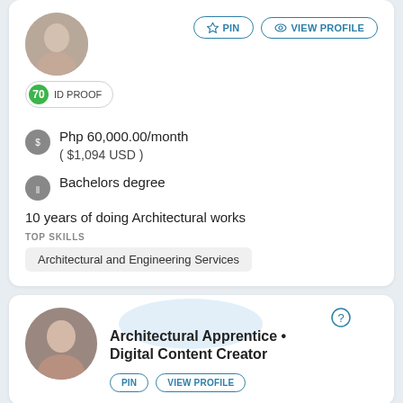[Figure (photo): Profile photo of a woman with long dark hair, cropped at top]
PIN
VIEW PROFILE
70 ID PROOF
Php 60,000.00/month
( $1,094 USD )
Bachelors degree
10 years of doing Architectural works
TOP SKILLS
Architectural and Engineering Services
[Figure (photo): Profile photo of a young woman with long dark hair]
Architectural Apprentice • Digital Content Creator